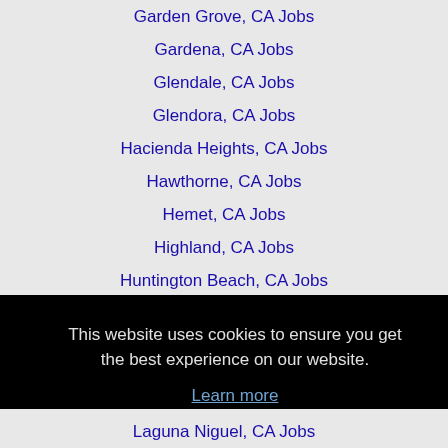Garden Grove, CA Jobs
Gardena, CA Jobs
Glendale, CA Jobs
Glendora, CA Jobs
Hacienda Heights, CA Jobs
Hawthorne, CA Jobs
Hemet, CA Jobs
Highland, CA Jobs
Huntington Beach, CA Jobs
Huntington Park, CA Jobs
This website uses cookies to ensure you get the best experience on our website.
Learn more
Got it!
Laguna Niguel, CA Jobs